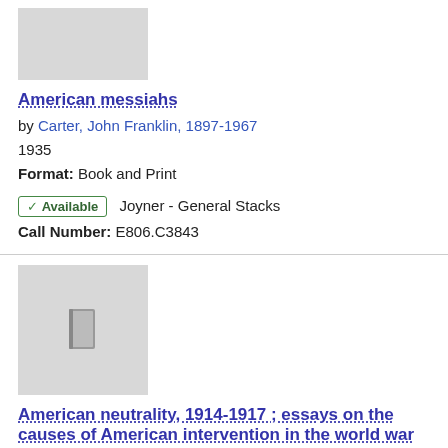[Figure (illustration): Gray placeholder thumbnail for book cover]
American messiahs
by Carter, John Franklin, 1897-1967
1935
Format: Book and Print
✓ Available   Joyner - General Stacks
Call Number: E806.C3843
[Figure (illustration): Gray placeholder thumbnail with book icon for second entry]
American neutrality, 1914-1917 ; essays on the causes of American intervention in the world war
by Seymour, Charles, 1885-1963
1935
Format: Book and Print